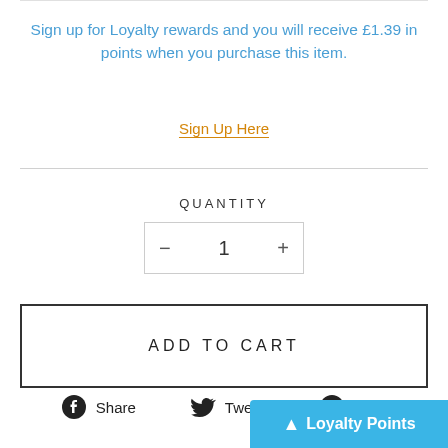Sign up for Loyalty rewards and you will receive £1.39 in points when you purchase this item.
Sign Up Here
QUANTITY
− 1 +
ADD TO CART
Share  Tweet  Pin it
Loyalty Points